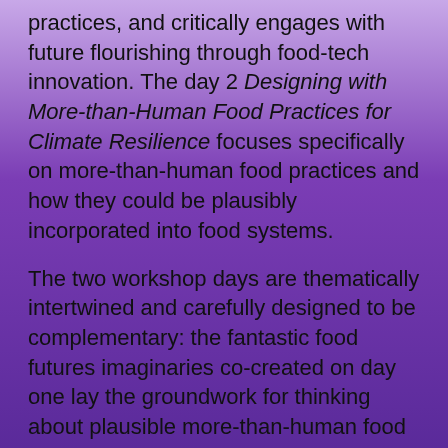practices, and critically engages with future flourishing through food-tech innovation. The day 2 Designing with More-than-Human Food Practices for Climate Resilience focuses specifically on more-than-human food practices and how they could be plausibly incorporated into food systems.
The two workshop days are thematically intertwined and carefully designed to be complementary: the fantastic food futures imaginaries co-created on day one lay the groundwork for thinking about plausible more-than-human food practices on day two.
The workshop (July 6-7th 2020) is now finished, outcomes were compiled into a collaborative More-than-Human Food Futures Cookbook featuring eleven recipes for experimental, sustainable, and just food practices (published in April 2021). In June 2022, the More-than-Human Food Futures Cookbook was